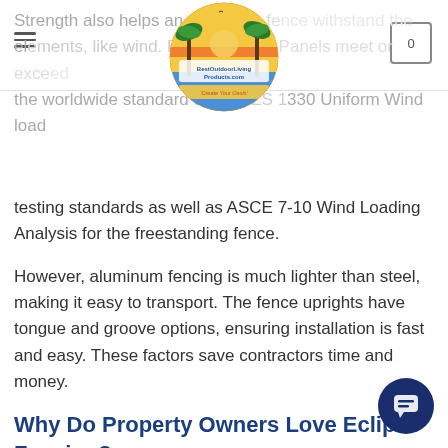BestOutdoorLivingProducts.com 'Create Your Oasis'
Strength also helps an aluminum fence withstand the elements, like wind. Eclipse Fence Panels meet or exceed the worldwide standard of AS/NZS 1330 Uniform Wind load testing standards as well as ASCE 7-10 Wind Loading Analysis for the freestanding fence.
However, aluminum fencing is much lighter than steel, making it easy to transport. The fence uprights have tongue and groove options, ensuring installation is fast and easy. These factors save contractors time and money.
Why Do Property Owners Love Eclipse Fencing?
Property owners love the low maintenance nature of this aluminum fence. It never needs to be painted, stained, or sealed. It won't crack, peel, or splinter. Other than occasionally washing off dirt and debris, no maintenance necessary.